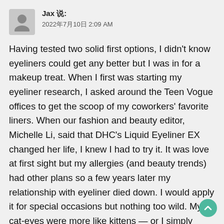[Figure (other): User avatar placeholder icon (grey silhouette)]
Jax 说:
2022年7月10日 2:09 AM
Having tested two solid first options, I didn't know eyeliners could get any better but I was in for a makeup treat. When I first was starting my eyeliner research, I asked around the Teen Vogue offices to get the scoop of my coworkers' favorite liners. When our fashion and beauty editor, Michelle Li, said that DHC's Liquid Eyeliner EX changed her life, I knew I had to try it. It was love at first sight but my allergies (and beauty trends) had other plans so a few years later my relationship with eyeliner died down. I would apply it for special occasions but nothing too wild. My cat-eyes were more like kittens — or I simply outlined my eye and called it a day. Now that my relationship with makeup and skincare has matured though, I've decided